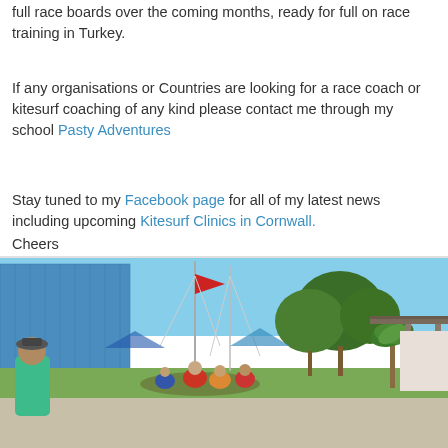full race boards over the coming months, ready for full on race training in Turkey.
If any organisations or Countries are looking for a race coach or kitesurf coaching of any kind please contact me through my school Pasty Adventures
Stay tuned to my Facebook page for all of my latest news including upcoming Kitesurf Clinics in Cornwall.
Cheers
Lee
[Figure (photo): Outdoor photo showing a marina or beach area with people sitting on grass under trees, a person in a green shirt on the left, blue building in background, palm trees, masts of boats, and a pergola/shade structure on the right.]